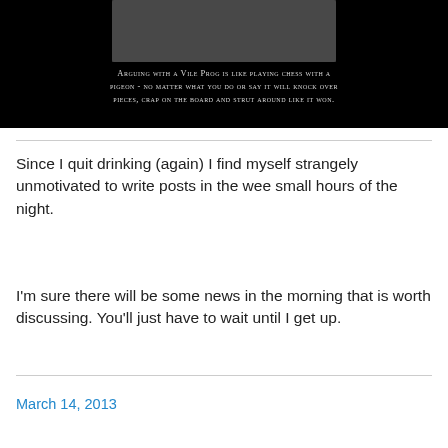[Figure (photo): Black background image with a chess board photo at top and white text reading: ARGUING WITH A VILE PROG IS LIKE PLAYING CHESS WITH A PIGEON - NO MATTER WHAT YOU DO OR SAY IT WILL KNOCK OVER PIECES, CRAP ON THE BOARD AND STRUT AROUND LIKE IT WON.]
Since I quit drinking (again) I find myself strangely unmotivated to write posts in the wee small hours of the night.
I'm sure there will be some news in the morning that is worth discussing. You'll just have to wait until I get up.
March 14, 2013